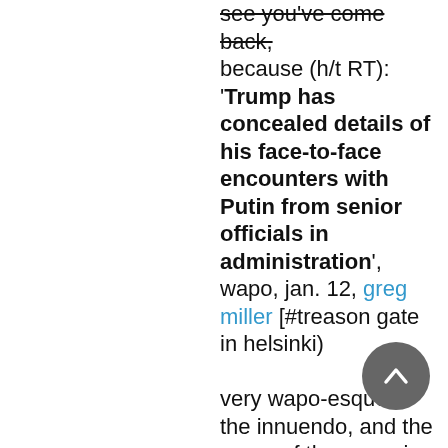see you've come back, because (h/t RT): 'Trump has concealed details of his face-to-face encounters with Putin from senior officials in administration', wapo, jan. 12, greg miller [#treason gate in helsinki)

very wapo-esque in the innuendo, and the name of the game is: Secrecy and Conspiracy.